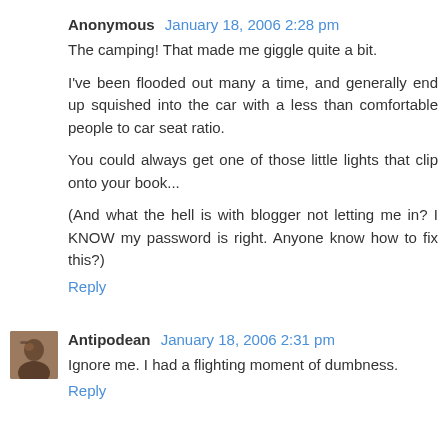Anonymous  January 18, 2006 2:28 pm
The camping! That made me giggle quite a bit.

I've been flooded out many a time, and generally end up squished into the car with a less than comfortable people to car seat ratio.

You could always get one of those little lights that clip onto your book...

(And what the hell is with blogger not letting me in? I KNOW my password is right. Anyone know how to fix this?)
Reply
Antipodean  January 18, 2006 2:31 pm
Ignore me. I had a flighting moment of dumbness.
Reply